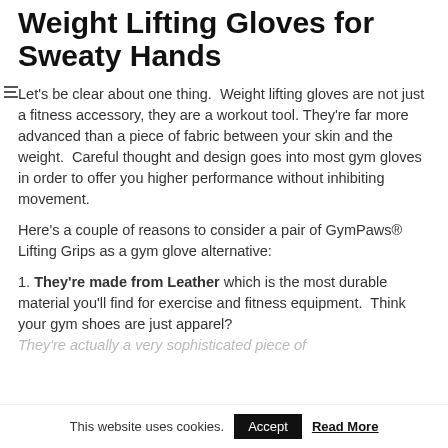Weight Lifting Gloves for Sweaty Hands
Let's be clear about one thing.  Weight lifting gloves are not just a fitness accessory, they are a workout tool. They're far more advanced than a piece of fabric between your skin and the weight.  Careful thought and design goes into most gym gloves in order to offer you higher performance without inhibiting movement.
Here's a couple of reasons to consider a pair of GymPaws® Lifting Grips as a gym glove alternative:
1. They're made from Leather which is the most durable material you'll find for exercise and fitness equipment.  Think your gym shoes are just apparel?  They're actually a very sophisticated piece of
This website uses cookies.